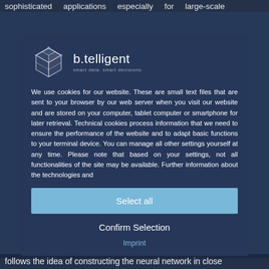sophisticated applications especially for large-scale
[Figure (screenshot): b.telligent website cookie consent modal dialog overlay on a dark blue background. The modal shows the b.telligent logo (geometric cube icon and company name 'b.telligent' with tagline 'smart data. smart decisions.'), followed by cookie policy text, a 'Select all' button in light blue, a 'Confirm Selection' button, and an 'Imprint' link.]
We use cookies for our website. These are small text files that are sent to your browser by our web server when you visit our website and are stored on your computer, tablet computer or smartphone for later retrieval. Technical cookies process information that we need to ensure the performance of the website and to adapt basic functions to your terminal device. You can manage all other settings yourself at any time. Please note that based on your settings, not all functionalities of the site may be available. Further information about the technologies and
Select all
Confirm Selection
Imprint
follows the idea of constructing the neural network in close